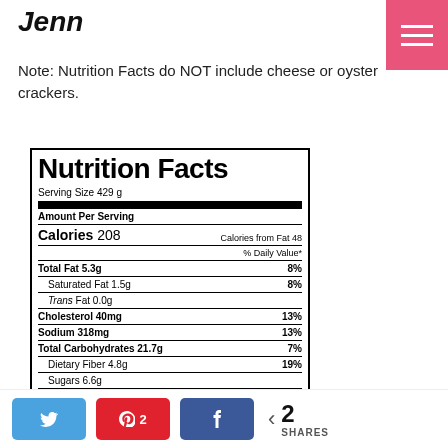Jenn
Note: Nutrition Facts do NOT include cheese or oyster crackers.
| Nutrition Facts |
| Serving Size 429 g |
| Amount Per Serving |
| Calories 208 | Calories from Fat 48 |
| % Daily Value* |
| Total Fat 5.3g | 8% |
| Saturated Fat 1.5g | 8% |
| Trans Fat 0.0g |
| Cholesterol 40mg | 13% |
| Sodium 318mg | 13% |
| Total Carbohydrates 21.7g | 7% |
| Dietary Fiber 4.8g | 19% |
| Sugars 6.6g |
| Protein 19.2g |
| Vitamin A 100% | Vitamin C 52% |
| Calcium 4% | Iron 15% |